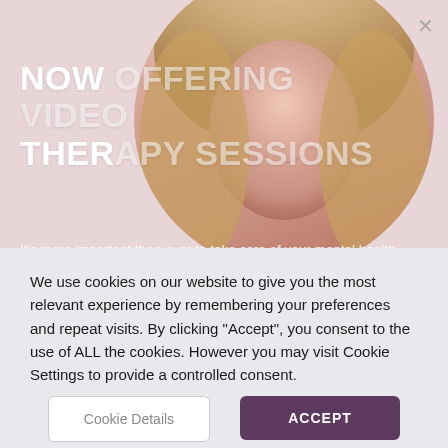[Figure (photo): Circular cropped portrait photo of a smiling woman with long blonde hair, overlaid on a pink/rose background]
NOW OFFERING VIDEO THERAPY SESSIONS
It's more important than ever to take care of your mental health, so all of our therapists are doing Telehealth and many have immediate openings for new clients.
Katie is a recently retired pediatrician who earned a bachelor of arts degree at New York University and a medical
We use cookies on our website to give you the most relevant experience by remembering your preferences and repeat visits. By clicking “Accept”, you consent to the use of ALL the cookies. However you may visit Cookie Settings to provide a controlled consent.